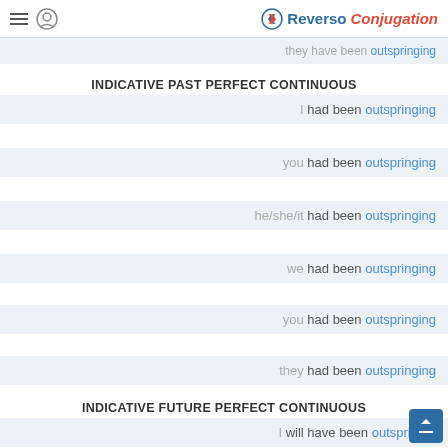Reverso Conjugation
they have been outspringing
INDICATIVE PAST PERFECT CONTINUOUS
I had been outspringing
you had been outspringing
he/she/it had been outspringing
we had been outspringing
you had been outspringing
they had been outspringing
INDICATIVE FUTURE PERFECT CONTINUOUS
I will have been outspringing